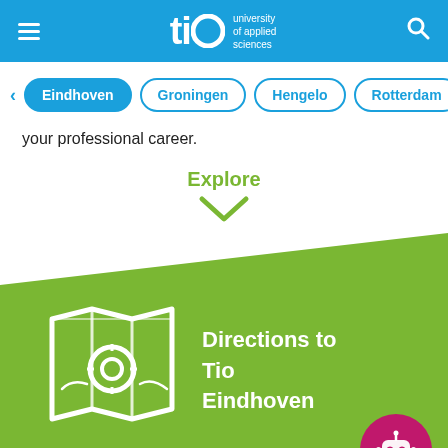[Figure (logo): Tio University of Applied Sciences logo in white on blue header bar with hamburger menu and search icon]
[Figure (other): Navigation tab row with city filter buttons: Eindhoven (active, filled blue), Groningen, Hengelo, Rotterdam, Utrecht]
your professional career.
Explore
[Figure (illustration): Green diagonal section with white map icon and text 'Directions to Tio Eindhoven']
Open days and more info